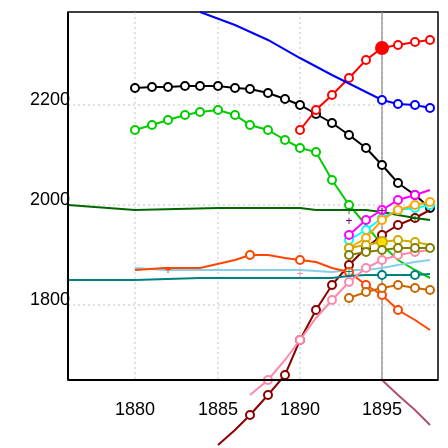[Figure (continuous-plot): Multi-series line chart showing various data series over years 1880-1895+. Y-axis ranges from approximately 1800 to 2400+. Multiple colored lines with circle and plus markers representing different series. A vertical grey reference line appears at approximately 1895. Series include black, green, red, blue, dark red, cyan, magenta, orange, teal, pink, dark green, gold, brown, olive, and other colored lines.]